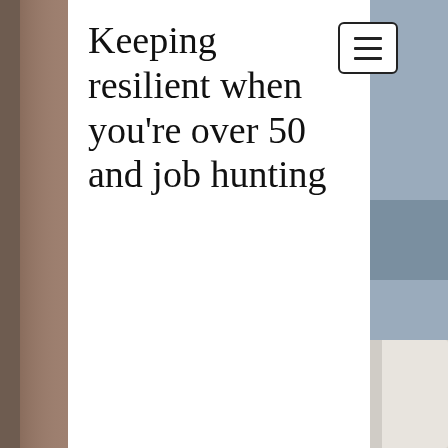[Figure (photo): Blurred background photo showing a workspace with a notebook, pen, and laptop. Left side shows a brown wooden surface, right side shows a light-colored laptop and a pen on a white surface. A white vertical panel overlays the center of the image.]
Keeping resilient when you're over 50 and job hunting